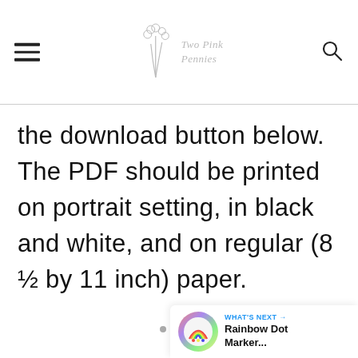Two Pink Pennies
the download button below. The PDF should be printed on portrait setting, in black and white, and on regular (8 ½ by 11 inch) paper.
[Figure (screenshot): What's Next panel showing Rainbow Dot Marker... with thumbnail]